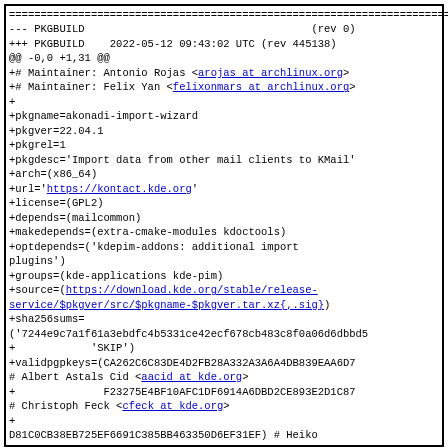=======================================================================
--- PKGBUILD                                    (rev 0)
+++ PKGBUILD    2022-05-12 09:43:02 UTC (rev 445138)
@@ -0,0 +1,31 @@
+# Maintainer: Antonio Rojas <arojas at archlinux.org>
+# Maintainer: Felix Yan <felixonmars at archlinux.org>
+
+pkgname=akonadi-import-wizard
+pkgver=22.04.1
+pkgrel=1
+pkgdesc='Import data from other mail clients to KMail'
+arch=(x86_64)
+url='https://kontact.kde.org'
+license=(GPL2)
+depends=(mailcommon)
+makedepends=(extra-cmake-modules kdoctools)
+optdepends=('kdepim-addons: additional import
plugins')
+groups=(kde-applications kde-pim)
+source=(https://download.kde.org/stable/release-service/$pkgver/src/$pkgname-$pkgver.tar.xz{,.sig})
+sha256sums=
('7244e9c7a1f61a3ebdfc4b5331ce42ecf678cb483c8f0a06d6dbbd5
+            'SKIP')
+validpgpkeys=(CA262C6C83DE4D2FB28A332A3A6A4DB839EAA6D7
# Albert Astals Cid <aacid at kde.org>
+              F23275E4BF10AFC1DF6914A6DBD2CE893E2D1C87
# Christoph Feck <cfeck at kde.org>
+
D81C0CB38EB725EF6691C385BB463350D6EF31EF) # Heiko